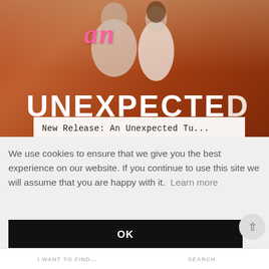[Figure (illustration): Book cover showing couple embracing on a warm reddish-orange background with pink cursive 'an' and bold white 'UNEXPECTED' text visible. A white caption bar reads 'New Release: An Unexpected Tu...']
[Figure (illustration): Teal/dark green banner displaying the bold white text 'SANDRA']
We use cookies to ensure that we give you the best experience on our website. If you continue to use this site we will assume that you are happy with it. Learn more
OK
I WANT TO FIND...
SEARCH